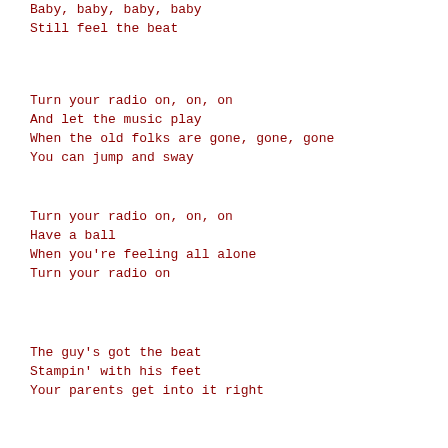Come on, and get the feel
Baby, baby, baby, baby
Still feel the beat
Turn your radio on, on, on
And let the music play
When the old folks are gone, gone, gone
You can jump and sway
Turn your radio on, on, on
Have a ball
When you're feeling all alone
Turn your radio on
The guy's got the beat
Stampin' with his feet
Your parents get into it right
Your sister's in the mood
My, she's feelin' good
Your neighbours won't understand
Turn your radio on, on, on
And let the music play
When the old folks are gone, gone, gone
You can jump and sway
Turn your radio on, on, on
Have a ball
When you're feeling all alone